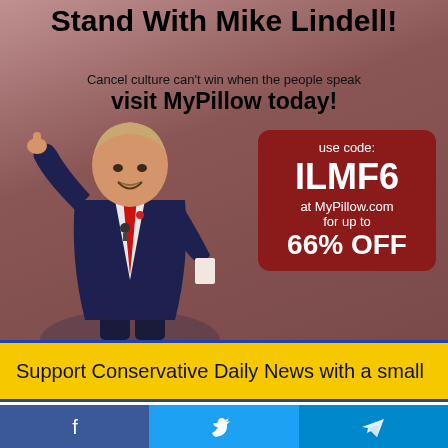[Figure (illustration): Advertisement image: man in dark suit with red tie giving thumbs up, with promotional text overlay for MyPillow]
Stand With Mike Lindell!
Cancel culture can't win when the people speak
visit MyPillow today!
use code: ILMF6 at MyPillow.com for up to 66% OFF
Support Conservative Daily News with a small
[Figure (infographic): Social share bar with Facebook, Twitter, and Telegram buttons]